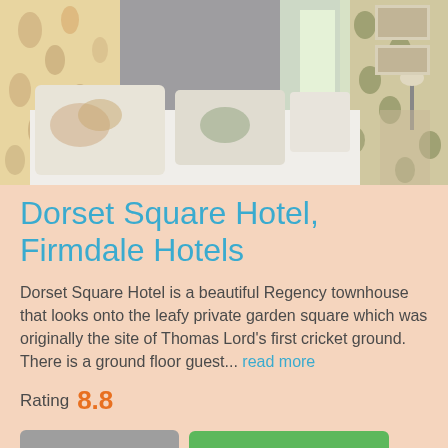[Figure (photo): Hotel bedroom with floral and spotted curtains, white bedding, decorative pillows, and a bedside lamp]
Dorset Square Hotel, Firmdale Hotels
Dorset Square Hotel is a beautiful Regency townhouse that looks onto the leafy private garden square which was originally the site of Thomas Lord's first cricket ground. There is a ground floor guest... read more
Rating 8.8
> Read more
Available rooms